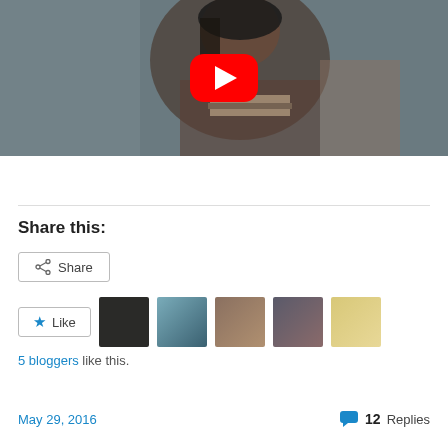[Figure (screenshot): YouTube video thumbnail showing a person with dark hair and a striped scarf/neckerchief, dark moody background, with a red YouTube play button overlay in the center]
Share this:
Share
Like
5 bloggers like this.
May 29, 2016
12 Replies